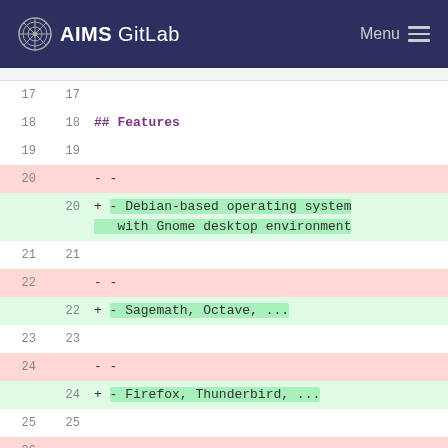AIMS GitLab   Menu
[Figure (screenshot): GitLab diff view showing markdown file changes. Lines 17-29 visible. Line 18 shows '## Features' heading in purple. Lines 20, 22, 24, 26 show deleted lines (pink background) with '- -' placeholder. New lines 20, 22, 24, 26 show additions (green background): '+ - Debian-based operating system with Gnome desktop environment', '+ - Sagemath, Octave, ...', '+ - Firefox, Thunderbird, ...', '+ - ...'. Lines 27-28 show normal content with a markdown link.]